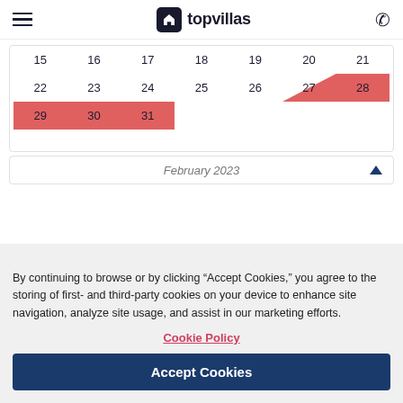topvillas
[Figure (other): Calendar showing dates 15-31 with dates 27-31 highlighted in red/salmon color indicating booked/unavailable period. Dates 27-28 shown with a diagonal highlight starting mid-cell. Dates 29, 30, 31 fully highlighted.]
February 2023
By continuing to browse or by clicking “Accept Cookies,” you agree to the storing of first- and third-party cookies on your device to enhance site navigation, analyze site usage, and assist in our marketing efforts.
Cookie Policy
Accept Cookies